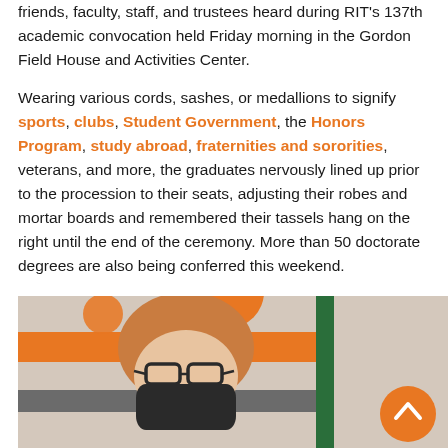friends, faculty, staff, and trustees heard during RIT's 137th academic convocation held Friday morning in the Gordon Field House and Activities Center.
Wearing various cords, sashes, or medallions to signify sports, clubs, Student Government, the Honors Program, study abroad, fraternities and sororities, veterans, and more, the graduates nervously lined up prior to the procession to their seats, adjusting their robes and mortar boards and remembered their tassels hang on the right until the end of the ceremony. More than 50 doctorate degrees are also being conferred this weekend.
[Figure (photo): A person with red/auburn hair wearing glasses and a black mask, standing in front of a wall with orange and gray horizontal stripes and a green pole, with an orange circle visible at top.]